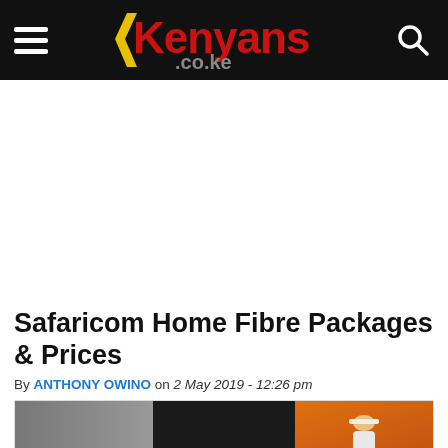Kenyans.co.ke
Safaricom Home Fibre Packages & Prices
By ANTHONY OWINO on 2 May 2019 - 12:26 pm
[Figure (photo): Article featured image showing home fibre setup with monitor and technician on orange background]